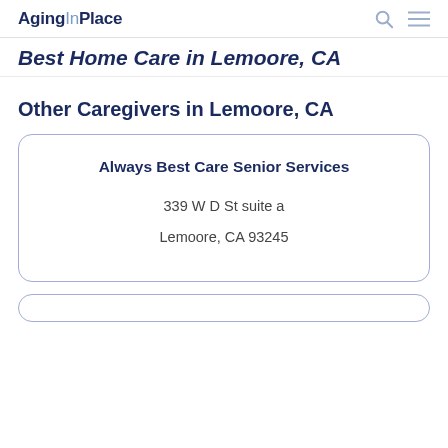AgingInPlace
Best Home Care in Lemoore, CA
Other Caregivers in Lemoore, CA
Always Best Care Senior Services
339 W D St suite a
Lemoore, CA 93245